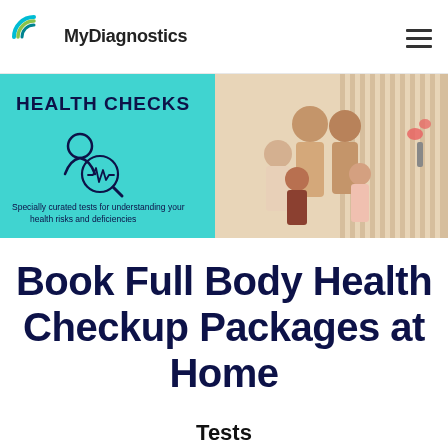[Figure (logo): MyDiagnostics logo with circular teal/green arc icon and text 'MyDiagnostics']
[Figure (photo): Health Checks banner with teal background on left showing 'HEALTH CHECKS' text, a medical icon of a person with heartbeat/magnifier graphic, and small text 'Specially curated tests for understanding your health risks and deficiencies'. Right side shows a family photo with multi-generational family smiling together in a home setting.]
Book Full Body Health Checkup Packages at Home
Tests